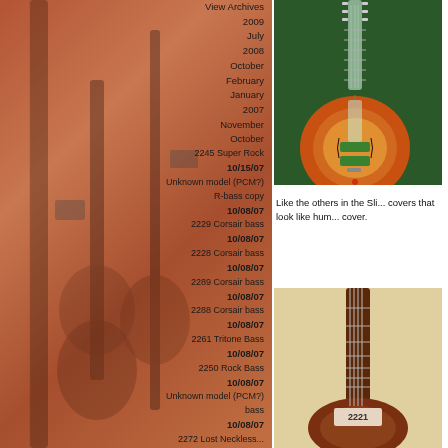View Archives
2009
July
2008
October
February
January
2007
November
October
2245 Super Rock
10/15/07
Unknown model (PCM?) R-bass copy
10/08/07
2229 Corsair bass
10/08/07
2228 Corsair bass
10/08/07
2289 Corsair bass
10/08/07
2288 Corsair bass
10/08/07
2261 Tritone Bass
10/08/07
2250 Rock Bass
10/08/07
Unknown model (PCM?) bass
10/08/07
2272 ...
[Figure (photo): Semi-hollow electric guitar with sunburst finish displayed on green background, on a guitar stand]
Like the others in the Sli... covers that look like hum... cover.
[Figure (photo): Bottom portion of guitar neck and body showing label 2221]